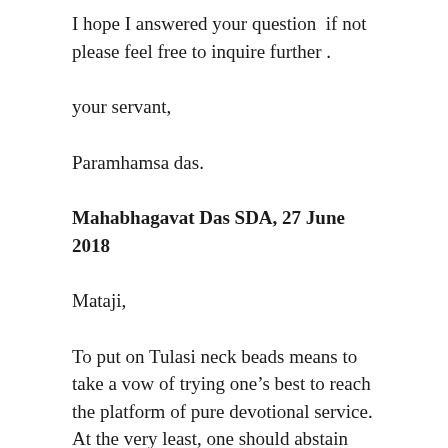I hope I answered your question  if not please feel free to inquire further .
your servant,
Paramhamsa das.
Mahabhagavat Das SDA, 27 June 2018
Mataji,
To put on Tulasi neck beads means to take a vow of trying one’s best to reach the platform of pure devotional service. At the very least, one should abstain from knowingly consuming foods that Vaishnavas avoid, such as meat, fish, eggs, onions, garlic and so on.